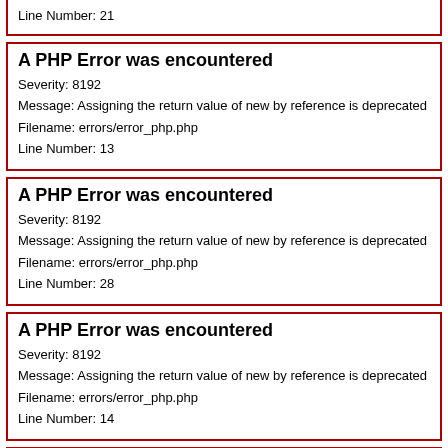Line Number: 21
A PHP Error was encountered
Severity: 8192
Message: Assigning the return value of new by reference is deprecated
Filename: errors/error_php.php
Line Number: 13
A PHP Error was encountered
Severity: 8192
Message: Assigning the return value of new by reference is deprecated
Filename: errors/error_php.php
Line Number: 28
A PHP Error was encountered
Severity: 8192
Message: Assigning the return value of new by reference is deprecated
Filename: errors/error_php.php
Line Number: 14
A PHP Error was encountered
Severity: 8192
Message: Assigning the return value of new by reference is deprecated
Filename: errors/error_php.php
Line Number: 22